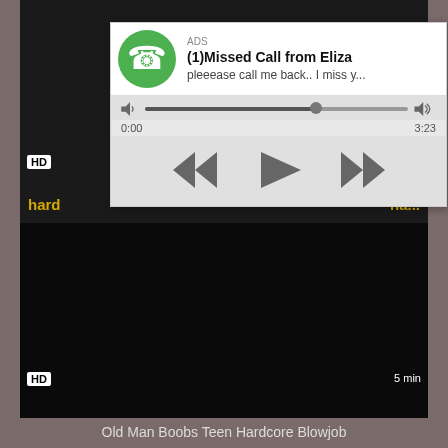[Figure (screenshot): Top video thumbnail area, dark/black background]
[Figure (screenshot): Ad popup overlay showing a missed call notification from Eliza with green phone icon, audio player controls]
hard... ha...
[Figure (screenshot): Bottom video thumbnail, black background with HD badge and 5 min duration]
Old Man Boobs Teen Hardcore Blowjob